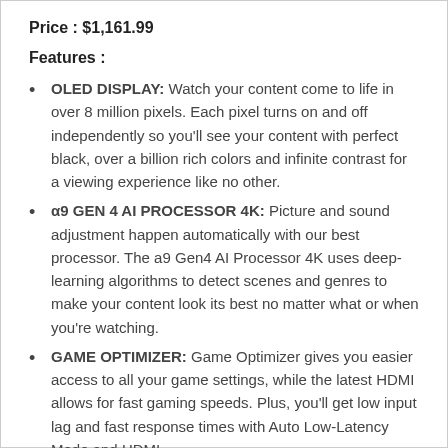Price : $1,161.99
Features :
OLED DISPLAY: Watch your content come to life in over 8 million pixels. Each pixel turns on and off independently so you'll see your content with perfect black, over a billion rich colors and infinite contrast for a viewing experience like no other.
α9 GEN 4 AI PROCESSOR 4K: Picture and sound adjustment happen automatically with our best processor. The a9 Gen4 AI Processor 4K uses deep-learning algorithms to detect scenes and genres to make your content look its best no matter what or when you're watching.
GAME OPTIMIZER: Game Optimizer gives you easier access to all your game settings, while the latest HDMI allows for fast gaming speeds. Plus, you'll get low input lag and fast response times with Auto Low-Latency Mode and HDMI...